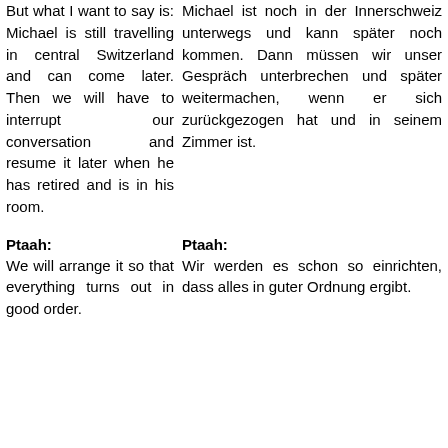But what I want to say is: Michael is still travelling in central Switzerland and can come later. Then we will have to interrupt our conversation and resume it later when he has retired and is in his room.
Michael ist noch in der Innerschweiz unterwegs und kann später noch kommen. Dann müssen wir unser Gespräch unterbrechen und später weitermachen, wenn er sich zurückgezogen hat und in seinem Zimmer ist.
Ptaah:
Ptaah:
We will arrange it so that everything turns out in good order.
Wir werden es schon so einrichten, dass alles in guter Ordnung ergibt.